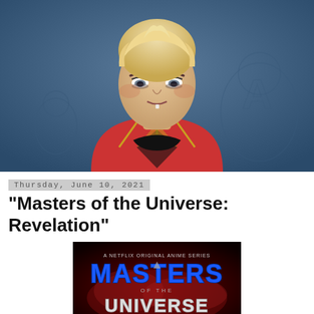[Figure (illustration): Illustration of a blonde short-haired female character with intense expression, wearing a red and gold costume, against a blue background with faint sketched figures]
Thursday, June 10, 2021
"Masters of the Universe: Revelation"
[Figure (photo): Logo image for 'Masters of the Universe' Netflix Original Anime Series, with stylized text on a dark red smoky background]